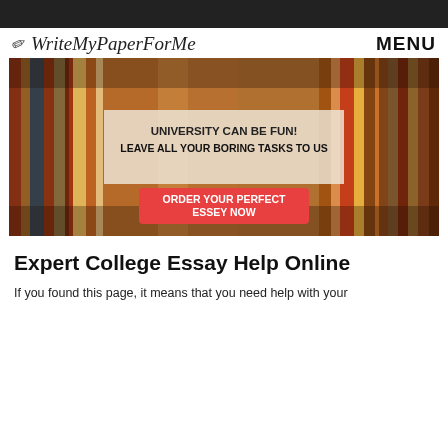[Figure (logo): WriteMyPaperForMe logo with pen icon and cursive text]
MENU
[Figure (photo): Hero image of stacked colorful books with overlay text box reading 'UNIVERSITY CAN BE FUN! LEAVE ALL YOUR BORING TASKS TO US' and a red CTA button 'ORDER YOUR PERFECT ESSEY NOW']
Expert College Essay Help Online
If you found this page, it means that you need help with your